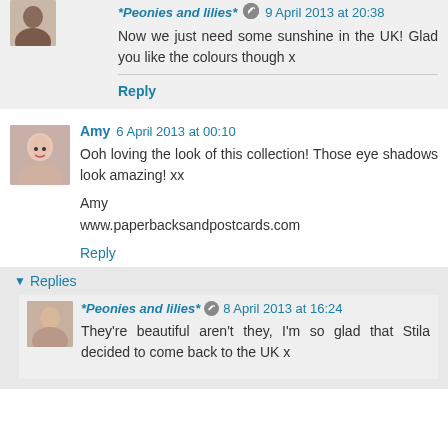*Peonies and lilies* [edit] 9 April 2013 at 20:38
Now we just need some sunshine in the UK! Glad you like the colours though x
Reply
Amy 6 April 2013 at 00:10
Ooh loving the look of this collection! Those eye shadows look amazing! xx
Amy
www.paperbacksandpostcards.com
Reply
▼ Replies
*Peonies and lilies* [edit] 8 April 2013 at 16:24
They're beautiful aren't they, I'm so glad that Stila decided to come back to the UK x